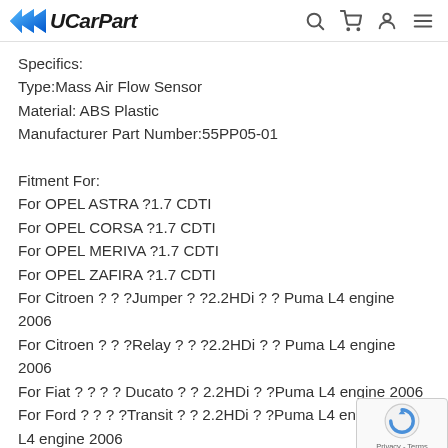UCarPart
Specifics:
Type:Mass Air Flow Sensor
Material: ABS Plastic
Manufacturer Part Number:55PP05-01

Fitment For:
For OPEL ASTRA ?1.7 CDTI
For OPEL CORSA ?1.7 CDTI
For OPEL MERIVA ?1.7 CDTI
For OPEL ZAFIRA ?1.7 CDTI
For Citroen ? ? ?Jumper ? ?2.2HDi ? ? Puma L4 engine 2006
For Citroen ? ? ?Relay ? ? ?2.2HDi ? ? Puma L4 engine 2006
For Fiat ? ? ? ? Ducato ? ? 2.2HDi ? ?Puma L4 engine 2006
For Ford ? ? ? ?Transit ? ? 2.2HDi ? ?Puma L4 engine 2006